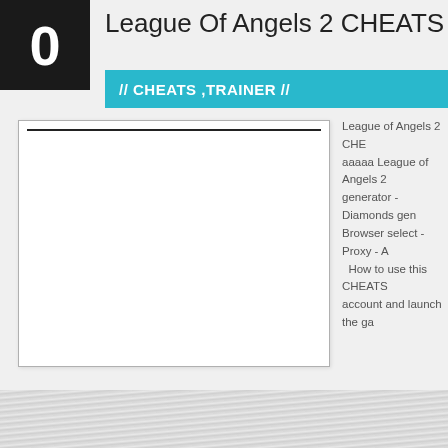League Of Angels 2 CHEATS TOOL
// CHEATS ,TRAINER //
[Figure (other): White placeholder box with a horizontal black line near the top]
League of Angels 2 CHE aaaaa League of Angels 2 generator - Diamonds gen Browser select - Proxy - A How to use this CHEATS account and launch the ga
← Older Entries